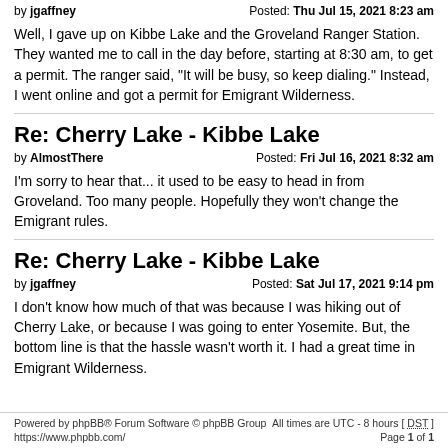by jgaffney  Posted: Thu Jul 15, 2021 8:23 am
Well, I gave up on Kibbe Lake and the Groveland Ranger Station. They wanted me to call in the day before, starting at 8:30 am, to get a permit. The ranger said, "It will be busy, so keep dialing." Instead, I went online and got a permit for Emigrant Wilderness.
Re: Cherry Lake - Kibbe Lake
by AlmostThere  Posted: Fri Jul 16, 2021 8:32 am
I'm sorry to hear that... it used to be easy to head in from Groveland. Too many people. Hopefully they won't change the Emigrant rules.
Re: Cherry Lake - Kibbe Lake
by jgaffney  Posted: Sat Jul 17, 2021 9:14 pm
I don't know how much of that was because I was hiking out of Cherry Lake, or because I was going to enter Yosemite. But, the bottom line is that the hassle wasn't worth it. I had a great time in Emigrant Wilderness.
Powered by phpBB® Forum Software © phpBB Group https://www.phpbb.com/  All times are UTC - 8 hours [ DST ]  Page 1 of 1